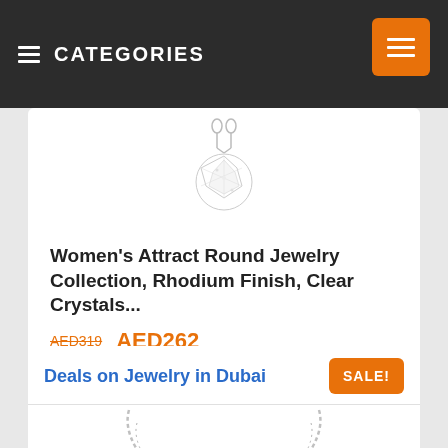≡ CATEGORIES ∨
[Figure (photo): Crystal pendant necklace with round clear crystal on a fine silver chain]
Women's Attract Round Jewelry Collection, Rhodium Finish, Clear Crystals...
AED319  AED262
Deals on Jewelry in Dubai
[Figure (photo): Silver necklace chain spread in a V shape on white background]